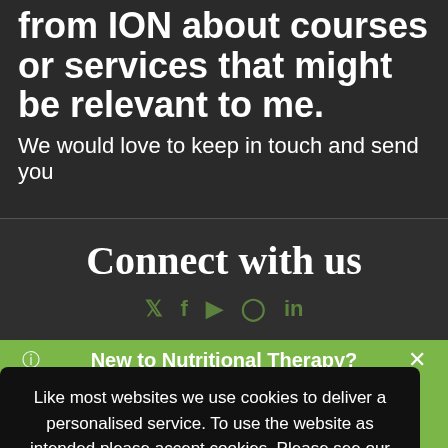from ION about courses or services that might be relevant to me.
We would love to keep in touch and send you
Connect with us
Like most websites we use cookies to deliver a personalised service. To use the website as intended please accept cookies. Please see our our Cookies Policy for more information.
New to Nutritional Therapy?
Click here to find out more about this rewarding career